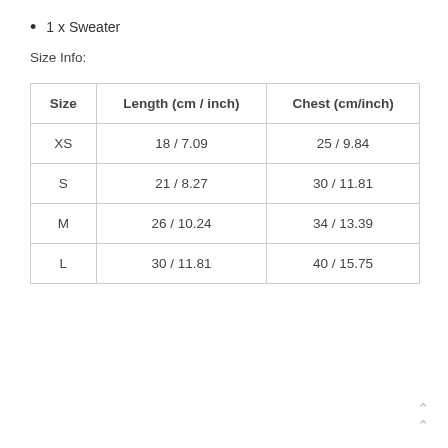1 x Sweater
Size Info:
| Size | Length (cm / inch) | Chest (cm/inch) |
| --- | --- | --- |
| XS | 18 / 7.09 | 25 / 9.84 |
| S | 21 / 8.27 | 30 / 11.81 |
| M | 26 / 10.24 | 34 / 13.39 |
| L | 30 / 11.81 | 40 / 15.75 |